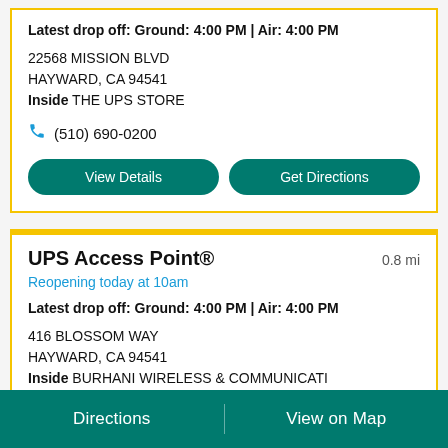Latest drop off: Ground: 4:00 PM | Air: 4:00 PM
22568 MISSION BLVD
HAYWARD, CA 94541
Inside THE UPS STORE
(510) 690-0200
View Details | Get Directions
UPS Access Point®
0.8 mi
Reopening today at 10am
Latest drop off: Ground: 4:00 PM | Air: 4:00 PM
416 BLOSSOM WAY
HAYWARD, CA 94541
Inside BURHANI WIRELESS & COMMUNICATI
Directions | View on Map